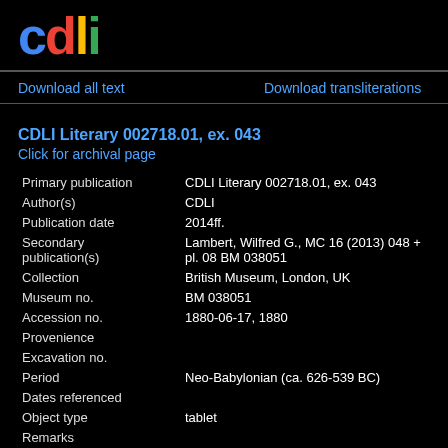[Figure (logo): CDLI logo with colorful letters: c (blue), d (red), l (yellow), i (green) on black background]
Download all text
Download transliterations
CDLI Literary 002718.01, ex. 043
Click for archival page
| Primary publication | CDLI Literary 002718.01, ex. 043 |
| Author(s) | CDLI |
| Publication date | 2014ff. |
| Secondary publication(s) | Lambert, Wilfred G., MC 16 (2013) 048 + pl. 08 BM 038051 |
| Collection | British Museum, London, UK |
| Museum no. | BM 038051 |
| Accession no. | 1880-06-17, 1880 |
| Provenience |  |
| Excavation no. |  |
| Period | Neo-Babylonian (ca. 626-539 BC) |
| Dates referenced |  |
| Object type | tablet |
| Remarks |  |
| Material | clay |
| Language | Akkadian |
| Genre | literature |